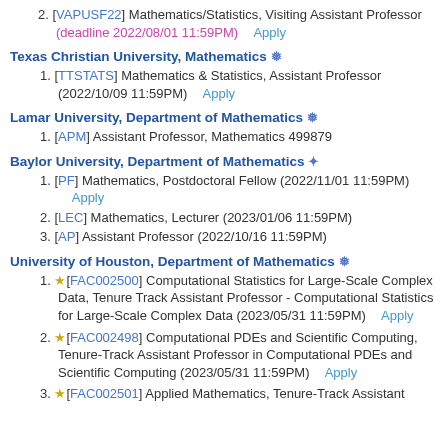2. [VAPUSF22] Mathematics/Statistics, Visiting Assistant Professor (deadline 2022/08/01 11:59PM)  Apply
Texas Christian University, Mathematics
1. [TTSTATS] Mathematics & Statistics, Assistant Professor (2022/10/09 11:59PM)  Apply
Lamar University, Department of Mathematics
1. [APM] Assistant Professor, Mathematics 499879
Baylor University, Department of Mathematics
1. [PF] Mathematics, Postdoctoral Fellow (2022/11/01 11:59PM) Apply
2. [LEC] Mathematics, Lecturer (2023/01/06 11:59PM)
3. [AP] Assistant Professor (2022/10/16 11:59PM)
University of Houston, Department of Mathematics
1. [FAC002500] Computational Statistics for Large-Scale Complex Data, Tenure Track Assistant Professor - Computational Statistics for Large-Scale Complex Data (2023/05/31 11:59PM)  Apply
2. [FAC002498] Computational PDEs and Scientific Computing, Tenure-Track Assistant Professor in Computational PDEs and Scientific Computing (2023/05/31 11:59PM)  Apply
3. [FAC002501] Applied Mathematics, Tenure-Track Assistant